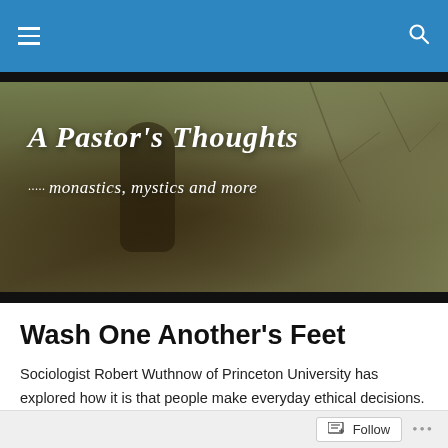Navigation bar with menu and search icons
[Figure (photo): Blog header banner with muted earthy olive/brown tones showing a figure silhouette and bare tree branches. White italic text reads 'A Pastor's Thoughts' with subtitle '····· monastics, mystics and more']
Wash One Another's Feet
Sociologist Robert Wuthnow of Princeton University has explored how it is that people make everyday ethical decisions. Many people, he found, perform deeds of compassion, service, and mercy because at some point in their past someone acted with compassion toward them
Follow  •••